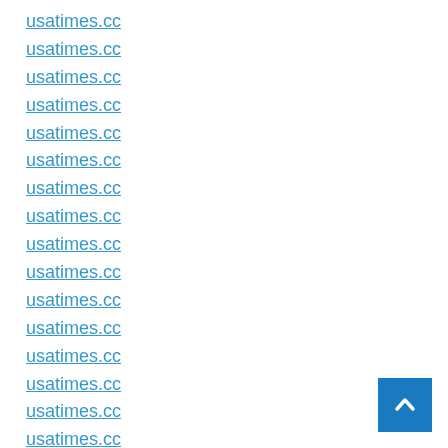usatimes.cc
usatimes.cc
usatimes.cc
usatimes.cc
usatimes.cc
usatimes.cc
usatimes.cc
usatimes.cc
usatimes.cc
usatimes.cc
usatimes.cc
usatimes.cc
usatimes.cc
usatimes.cc
usatimes.cc
usatimes.cc
usatimes.cc